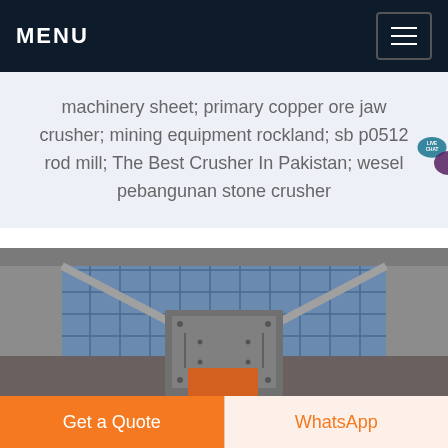MENU
machinery sheet; primary copper ore jaw crusher; mining equipment rockland; sb p0512 rod mill; The Best Crusher In Pakistan; wesel pebangunan stone crusher
[Figure (photo): Industrial jaw crusher machine photographed in front of a large building with a glass facade and concrete structural frame. The crusher appears to be a heavy grey metal machine with bolted plates, positioned centrally.]
Get a Quote
WhatsApp